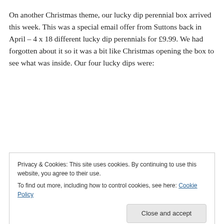On another Christmas theme, our lucky dip perennial box arrived this week. This was a special email offer from Suttons back in April – 4 x 18 different lucky dip perennials for £9.99. We had forgotten about it so it was a bit like Christmas opening the box to see what was inside. Our four lucky dips were:
Dianthus – I am not a big fan but Mr Mac is. We have two in the garden already which doesn't mean we like to…
to grow these from seed last year and the slugs ate every
[Figure (screenshot): Cookie consent banner with text: 'Privacy & Cookies: This site uses cookies. By continuing to use this website, you agree to their use. To find out more, including how to control cookies, see here: Cookie Policy' and a 'Close and accept' button.]